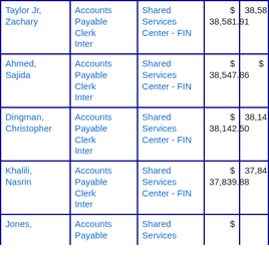| Name | Title | Department | Amount | Amount2 |
| --- | --- | --- | --- | --- |
| Taylor Jr, Zachary | Accounts Payable Clerk Inter | Shared Services Center - FIN | $ 38,581.91 | 38,58… |
| Ahmed, Sajida | Accounts Payable Clerk Inter | Shared Services Center - FIN | $ 38,547.86 | $ |
| Dingman, Christopher | Accounts Payable Clerk Inter | Shared Services Center - FIN | $ 38,142.50 | 38,14… |
| Khalili, Nasrin | Accounts Payable Clerk Inter | Shared Services Center - FIN | $ 37,839.88 | 37,84… |
| Jones, … | Accounts Payable … | Shared Services … | $ |  |